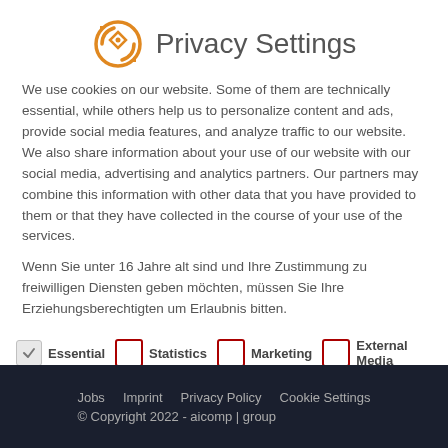Privacy Settings
We use cookies on our website. Some of them are technically essential, while others help us to personalize content and ads, provide social media features, and analyze traffic to our website. We also share information about your use of our website with our social media, advertising and analytics partners. Our partners may combine this information with other data that you have provided to them or that they have collected in the course of your use of the services.
Wenn Sie unter 16 Jahre alt sind und Ihre Zustimmung zu freiwilligen Diensten geben möchten, müssen Sie Ihre Erziehungsberechtigten um Erlaubnis bitten.
Essential (checked), Statistics (unchecked), Marketing (unchecked), External Media (unchecked)
Jobs   Imprint   Privacy Policy   Cookie Settings
© Copyright 2022 - aicomp | group